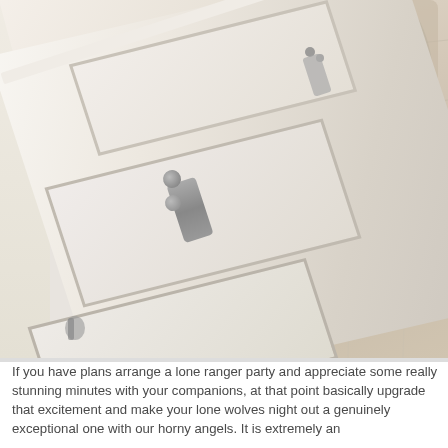[Figure (photo): A tilted/angled photo showing a white paneled interior door with metallic handle and knob hardware, shot at an approximately 15-20 degree angle. The right side shows a light wood-toned floor. A person in light-colored clothing is partially visible in the upper right corner.]
If you have plans arrange a lone ranger party and appreciate some really stunning minutes with your companions, at that point basically upgrade that excitement and make your lone wolves night out a genuinely exceptional one with our horny angels. It is extremely an